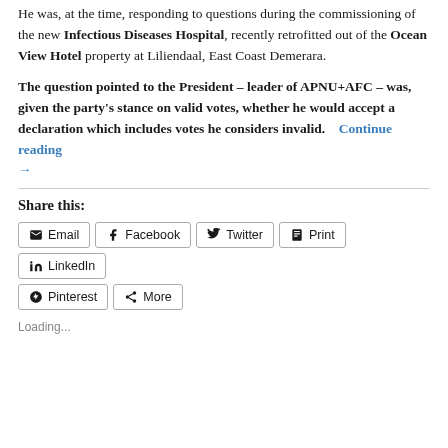He was, at the time, responding to questions during the commissioning of the new Infectious Diseases Hospital, recently retrofitted out of the Ocean View Hotel property at Liliendaal, East Coast Demerara.
The question pointed to the President – leader of APNU+AFC – was, given the party's stance on valid votes, whether he would accept a declaration which includes votes he considers invalid.  Continue reading →
Share this:
Email | Facebook | Twitter | Print | LinkedIn | Pinterest | More
Loading...